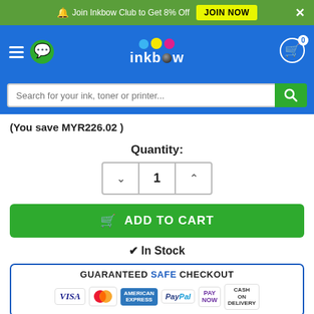Join Inkbow Club to Get 8% Off  JOIN NOW  ×
[Figure (screenshot): Inkbow website navigation bar with hamburger menu, WhatsApp icon, Inkbow logo with colored balls, and shopping cart icon with badge showing 0]
[Figure (screenshot): Search bar with placeholder text 'Search for your ink, toner or printer...' and green search button]
(You save MYR226.02 )
Quantity:
[Figure (other): Quantity selector with decrement button (chevron down), value 1, and increment button (chevron up)]
ADD TO CART
✔ In Stock
GUARANTEED SAFE CHECKOUT
[Figure (other): Payment method logos: VISA, MasterCard, American Express, PayPal, PayNow, Cash on Delivery]